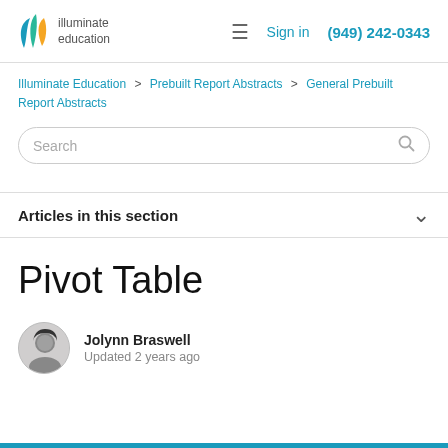illuminate education   Sign in   (949) 242-0343
Illuminate Education > Prebuilt Report Abstracts > General Prebuilt Report Abstracts
Search
Articles in this section
Pivot Table
Jolynn Braswell
Updated 2 years ago